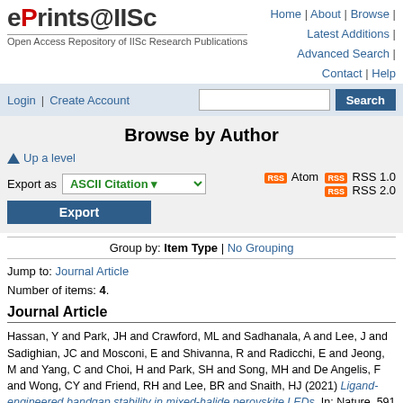ePrints@IISc — Open Access Repository of IISc Research Publications
Home | About | Browse | Latest Additions | Advanced Search | Contact | Help
Login | Create Account  [Search box] [Search button]
Browse by Author
Up a level
Export as ASCII Citation [dropdown] — Atom RSS 1.0 RSS 2.0
Export [button]
Group by: Item Type | No Grouping
Jump to: Journal Article
Number of items: 4.
Journal Article
Hassan, Y and Park, JH and Crawford, ML and Sadhanala, A and Lee, J and Sadighian, JC and Mosconi, E and Shivanna, R and Radicchi, E and Jeong, M and Yang, C and Choi, H and Park, SH and Song, MH and De Angelis, F and Wong, CY and Friend, RH and Lee, BR and Snaith, HJ (2021) Ligand-engineered bandgap stability in mixed-halide perovskite LEDs. In: Nature, 591 (7848), pp. 72-77.